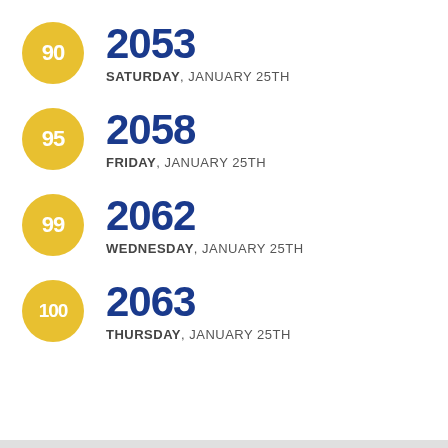90 — 2053, SATURDAY, JANUARY 25TH
95 — 2058, FRIDAY, JANUARY 25TH
99 — 2062, WEDNESDAY, JANUARY 25TH
100 — 2063, THURSDAY, JANUARY 25TH